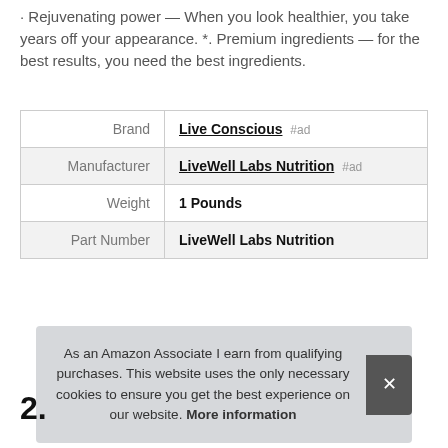·  Rejuvenating power — When you look healthier, you take years off your appearance. *. Premium ingredients — for the best results, you need the best ingredients.
|  |  |
| --- | --- |
| Brand | Live Conscious #ad |
| Manufacturer | LiveWell Labs Nutrition #ad |
| Weight | 1 Pounds |
| Part Number | LiveWell Labs Nutrition |
More information #ad
As an Amazon Associate I earn from qualifying purchases. This website uses the only necessary cookies to ensure you get the best experience on our website. More information
2.